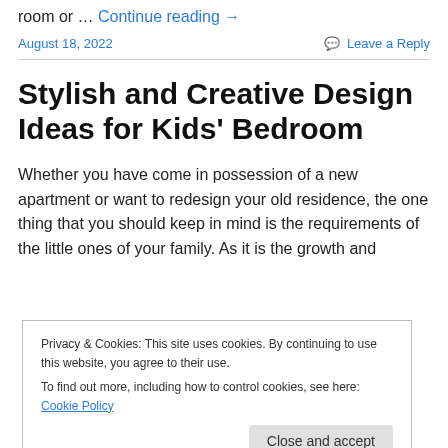room or … Continue reading →
August 18, 2022    Leave a Reply
Stylish and Creative Design Ideas for Kids' Bedroom
Whether you have come in possession of a new apartment or want to redesign your old residence, the one thing that you should keep in mind is the requirements of the little ones of your family. As it is the growth and
Privacy & Cookies: This site uses cookies. By continuing to use this website, you agree to their use.
To find out more, including how to control cookies, see here: Cookie Policy
Close and accept